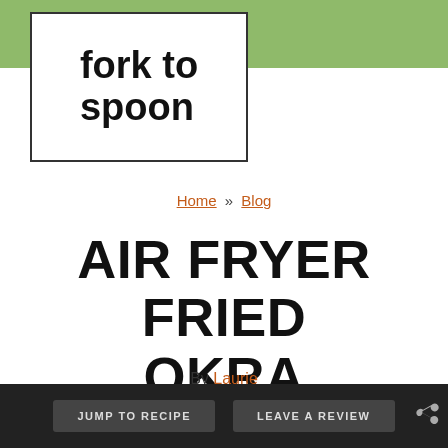[Figure (logo): Fork to Spoon logo: bold black text 'fork to spoon' on white background with dark border, set against a sage green header bar]
Home » Blog
AIR FRYER FRIED OKRA
By Laurie
[Figure (other): Three circular sage green social media share buttons: Facebook (f icon), Twitter (bird icon), Pinterest (p icon), plus a teal heart/save button with count of 5]
JUMP TO RECIPE   LEAVE A REVIEW